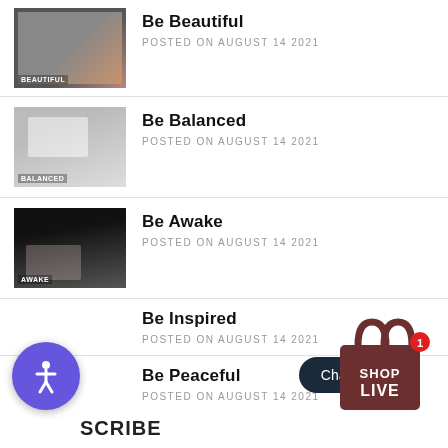Be Beautiful — POSTED ON AUGUST 14 2021
Be Balanced — POSTED ON AUGUST 14 2021
Be Awake — POSTED ON AUGUST 14 2021
Be Inspired — POSTED ON AUGUST 14 2021
Be Peaceful — POSTED ON AUGUST 14 2021
[Figure (logo): Accessibility icon button (purple circle with person symbol)]
[Figure (logo): Shop Live shopping bag badge with red notification dot]
Chat w...
SCRIBE